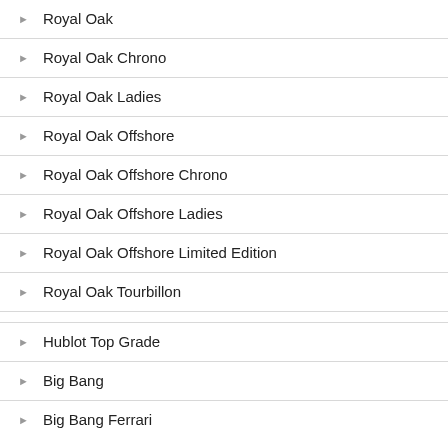Royal Oak
Royal Oak Chrono
Royal Oak Ladies
Royal Oak Offshore
Royal Oak Offshore Chrono
Royal Oak Offshore Ladies
Royal Oak Offshore Limited Edition
Royal Oak Tourbillon
Hublot Top Grade
Big Bang
Big Bang Ferrari